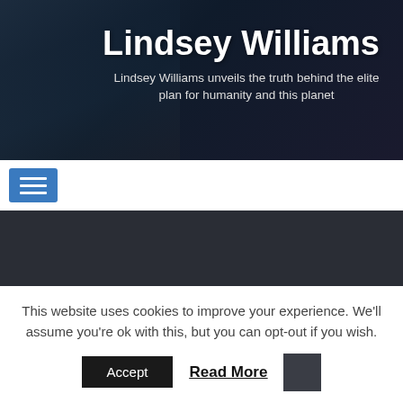Lindsey Williams
Lindsey Williams unveils the truth behind the elite plan for humanity and this planet
[Figure (screenshot): Hamburger menu navigation button on white nav bar]
[Figure (screenshot): Dark gray video player area]
[Figure (screenshot): Thumbnail strip showing LINDSEY WILLIAMS text in red on dark background with yellow logo on right]
This website uses cookies to improve your experience. We'll assume you're ok with this, but you can opt-out if you wish.
Accept
Read More